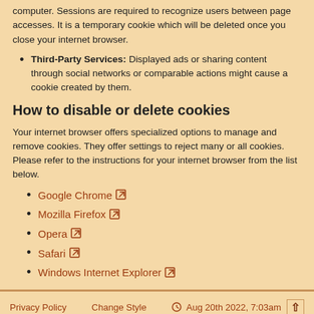computer. Sessions are required to recognize users between page accesses. It is a temporary cookie which will be deleted once you close your internet browser.
Third-Party Services: Displayed ads or sharing content through social networks or comparable actions might cause a cookie created by them.
How to disable or delete cookies
Your internet browser offers specialized options to manage and remove cookies. They offer settings to reject many or all cookies. Please refer to the instructions for your internet browser from the list below.
Google Chrome ↗
Mozilla Firefox ↗
Opera ↗
Safari ↗
Windows Internet Explorer ↗
Privacy Policy   Change Style   ⊙ Aug 20th 2022, 7:03am   ↑
Forum Software: Burning Board®, developed by WoltLab® GmbH